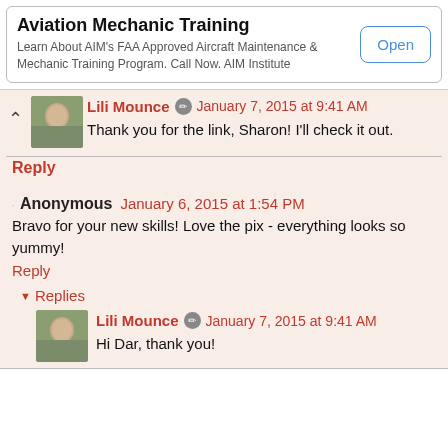[Figure (infographic): Ad banner for Aviation Mechanic Training with Open button]
Lili Mounce · January 7, 2015 at 9:41 AM
Thank you for the link, Sharon! I'll check it out.
Reply
Anonymous January 6, 2015 at 1:54 PM
Bravo for your new skills! Love the pix - everything looks so yummy!
Reply
▼ Replies
Lili Mounce · January 7, 2015 at 9:41 AM
Hi Dar, thank you!